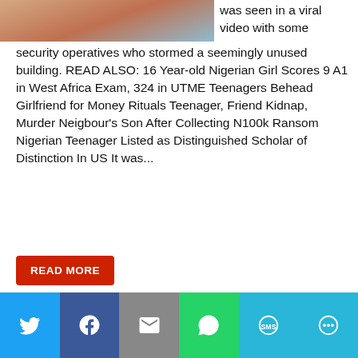[Figure (photo): Partial photo of a person visible at top left]
was seen in a viral video with some security operatives who stormed a seemingly unused building. READ ALSO: 16 Year-old Nigerian Girl Scores 9 A1 in West Africa Exam, 324 in UTME Teenagers Behead Girlfriend for Money Rituals Teenager, Friend Kidnap, Murder Neigbour's Son After Collecting N100k Ransom Nigerian Teenager Listed as Distinguished Scholar of Distinction In US It was...
READ MORE
Crime/Health, Features/Articles/Opinion, News, Top Stories  14-year-old Girl Arrested With Human Head in Imo State + PHOTO, Chidinma Iheoma, Chidinma Iheoma of Mgbirichi in Imo State, Mgbirichi in Imo State
Leave a comment
[Figure (infographic): Social sharing bar with Twitter, Facebook, Email, WhatsApp, SMS, and More buttons]